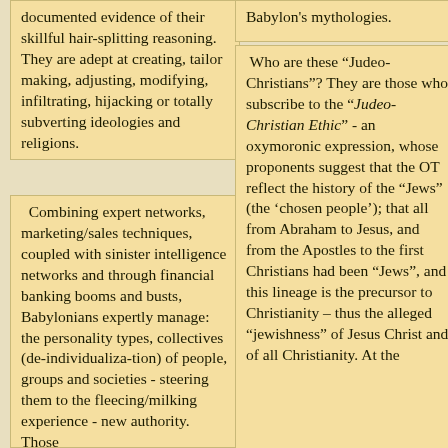documented evidence of their skillful hair-splitting reasoning. They are adept at creating, tailor making, adjusting, modifying, infiltrating, hijacking or totally subverting ideologies and religions.
Combining expert networks, marketing/sales techniques, coupled with sinister intelligence networks and through financial banking booms and busts, Babylonians expertly manage: the personality types, collectives (de-individualiza-tion) of people, groups and societies - steering them to the fleecing/milking experience - new authority. Those
Babylon’s mythologies.
Who are these “Judeo-Christians”? They are those who subscribe to the “Judeo-Christian Ethic” - an oxymoronic expression, whose proponents suggest that the OT reflect the history of the “Jews” (the ‘chosen people’); that all from Abraham to Jesus, and from the Apostles to the first Christians had been “Jews”, and this lineage is the precursor to Christianity – thus the alleged “jewishness” of Jesus Christ and of all Christianity. At the